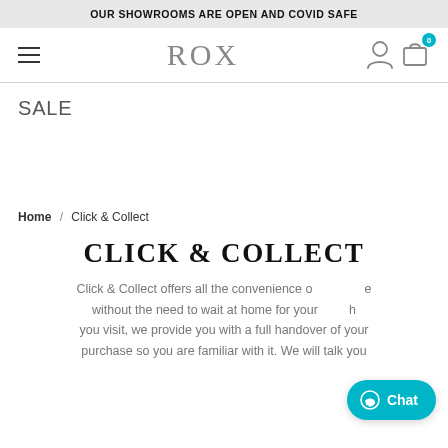OUR SHOWROOMS ARE OPEN AND COVID SAFE
[Figure (logo): ROX logo with hamburger menu, person icon and shopping bag icon with badge showing 0]
SALE
Home / Click & Collect
CLICK & COLLECT
Click & Collect offers all the convenience of ... without the need to wait at home for your ... you visit, we provide you with a full handover of your purchase so you are familiar with it. We will talk you